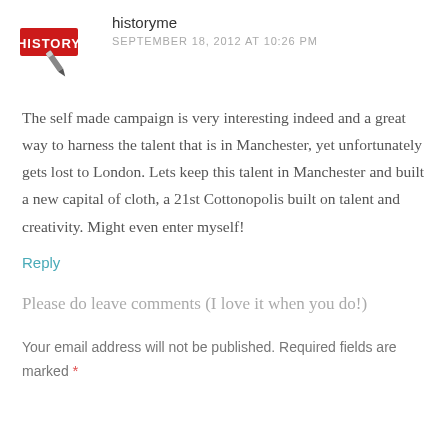[Figure (logo): historyme blog logo with red HISTORY text and pencil icon]
historyme
SEPTEMBER 18, 2012 AT 10:26 PM
The self made campaign is very interesting indeed and a great way to harness the talent that is in Manchester, yet unfortunately gets lost to London. Lets keep this talent in Manchester and built a new capital of cloth, a 21st Cottonopolis built on talent and creativity. Might even enter myself!
Reply
Please do leave comments (I love it when you do!)
Your email address will not be published. Required fields are marked *